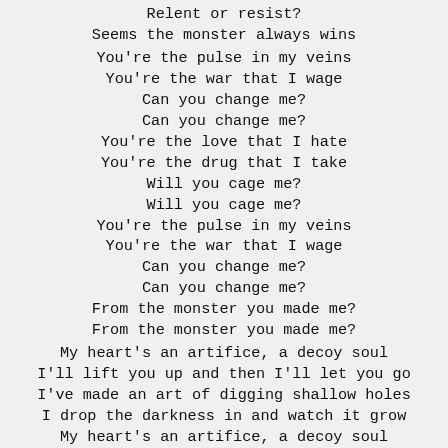Relent or resist?
Seems the monster always wins
You're the pulse in my veins
You're the war that I wage
Can you change me?
Can you change me?
You're the love that I hate
You're the drug that I take
Will you cage me?
Will you cage me?
You're the pulse in my veins
You're the war that I wage
Can you change me?
Can you change me?
From the monster you made me?
From the monster you made me?
My heart's an artifice, a decoy soul
I'll lift you up and then I'll let you go
I've made an art of digging shallow holes
I drop the darkness in and watch it grow
My heart's an artifice, a decoy soul